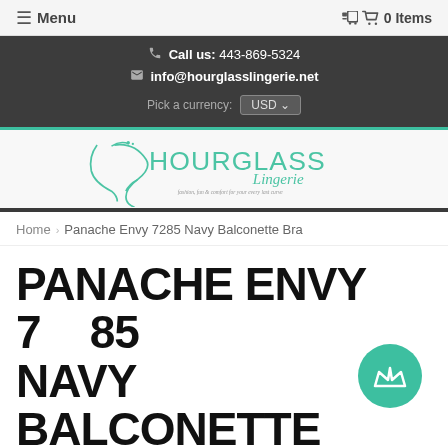≡ Menu | 🛒 0 Items
Call us: 443-869-5324
info@hourglasslingerie.net
Pick a currency: USD
[Figure (logo): Hourglass Lingerie logo with stylized hourglass figure and tagline: fashion, fun & comfort for your every last curve]
Home › Panache Envy 7285 Navy Balconette Bra
PANACHE ENVY 7285 NAVY BALCONETTE